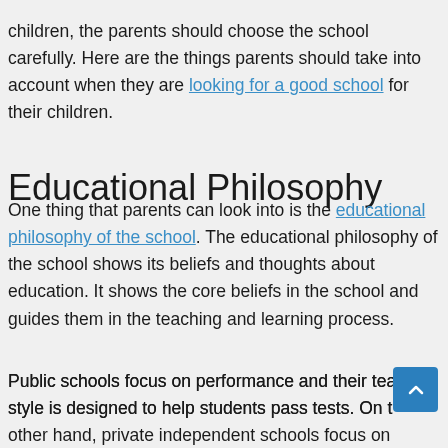children, the parents should choose the school carefully. Here are the things parents should take into account when they are looking for a good school for their children.
Educational Philosophy
One thing that parents can look into is the educational philosophy of the school. The educational philosophy of the school shows its beliefs and thoughts about education. It shows the core beliefs in the school and guides them in the teaching and learning process.
Public schools focus on performance and their teaching style is designed to help students pass tests. On the other hand, private independent schools focus on